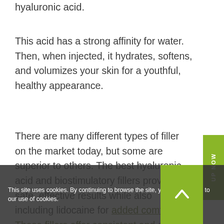hyaluronic acid.
This acid has a strong affinity for water. Then, when injected, it hydrates, softens, and volumizes your skin for a youthful, healthy appearance.
There are many different types of filler on the market today, but some are superior to others. The best hyaluronic acid and biostimulatory fillers provide safe, effective results while also including lidocaine for added comfort. These fillers offer consistent and safe results.
This site uses cookies. By continuing to browse the site, you are agreeing to our use of cookies.